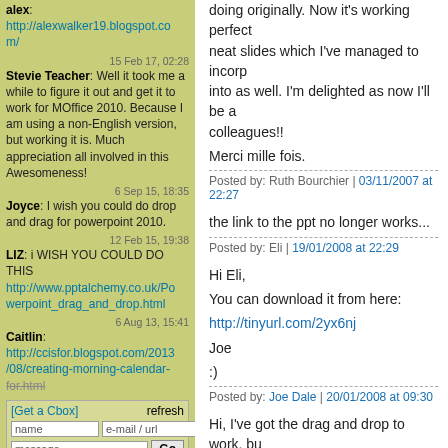alex:
http://alexwalker19.blogspot.com/
15 Feb 17, 02:28
Stevie Teacher: Well it took me a while to figure it out and get it to work for MOffice 2010. Because I am using a non-English version, but working it is. Much appreciation all involved in this Awesomeness!
6 Sep 15, 18:35
Joyce: I wish you could do drop and drag for powerpoint 2010.
12 Feb 15, 19:38
LIZ: i WISH YOU COULD DO THIS http://www.pptalchemy.co.uk/Powerpoint_drag_and_drop.html
6 Aug 13, 15:41
Caitlin:
http://ccisfor.blogspot.com/2013/08/creating-morning-calendar-for.html
[Get a Cbox]  refresh
name  e-mail / url
message  Go
help · smilies · cbox
AUTOPINGER
doing originally. Now it's working perfectly. it has neat slides which I've managed to incorporate into as well. I'm delighted as now I'll be a colleagues!!

Merci mille fois.
Posted by: Ruth Bourchier | 03/11/2007 at 22:27
the link to the ppt no longer works...
Posted by: Eli | 19/01/2008 at 22:29
Hi Eli,

You can download it from here:
http://tinyurl.com/2yx6nj

Joe

:)
Posted by: Joe Dale | 20/01/2008 at 09:30
Hi, I've got the drag and drop to work, bu